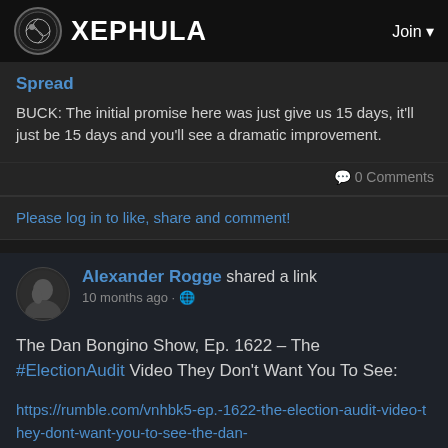XEPHULA  Join
Spread
BUCK: The initial promise here was just give us 15 days, it'll just be 15 days and you'll see a dramatic improvement.
0 Comments
Please log in to like, share and comment!
Alexander Rogge shared a link
10 months ago · 🌐
The Dan Bongino Show, Ep. 1622 – The #ElectionAudit Video They Don't Want You To See:
https://rumble.com/vnhbk5-ep.-1622-the-election-audit-video-they-dont-want-you-to-see-the-dan-